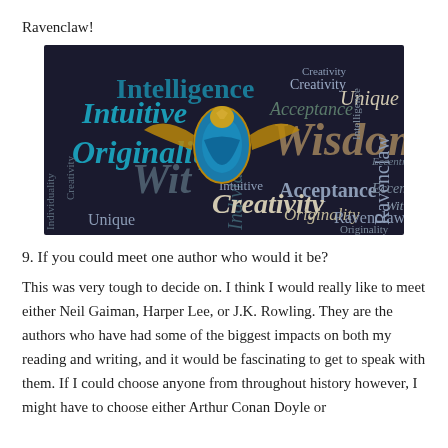Ravenclaw!
[Figure (illustration): Ravenclaw word cloud image featuring words like Intelligence, Wisdom, Intuitive, Originality, Creativity, Acceptance, Individuality, Unique, Wit, Ravenclaw, Eccentric arranged in a dark background word cloud with a Ravenclaw house crest eagle in the center.]
9. If you could meet one author who would it be?
This was very tough to decide on. I think I would really like to meet either Neil Gaiman, Harper Lee, or J.K. Rowling. They are the authors who have had some of the biggest impacts on both my reading and writing, and it would be fascinating to get to speak with them. If I could choose anyone from throughout history however, I might have to choose either Arthur Conan Doyle or